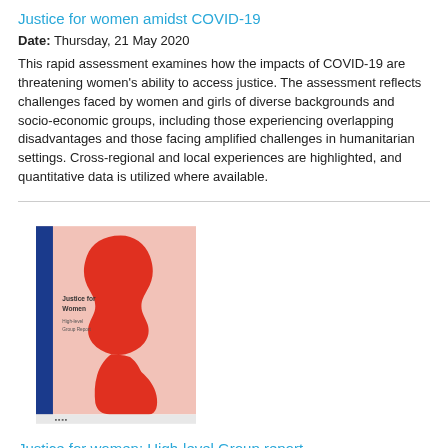Justice for women amidst COVID-19
Date: Thursday, 21 May 2020
This rapid assessment examines how the impacts of COVID-19 are threatening women's ability to access justice. The assessment reflects challenges faced by women and girls of diverse backgrounds and socio-economic groups, including those experiencing overlapping disadvantages and those facing amplified challenges in humanitarian settings. Cross-regional and local experiences are highlighted, and quantitative data is utilized where available.
[Figure (illustration): Book cover for 'Justice for Women: High-level Group Report' featuring a red silhouette of a woman's face profile on a pink background with a blue vertical stripe on the left side.]
Justice for women: High-level Group report
Date: Friday, 27 March 2020
Access to justice for women is at the heart of the 2030 Agenda for Sustainable Development, with its commitments to gender equality and to peaceful, just, and inclusive societies. This report provides